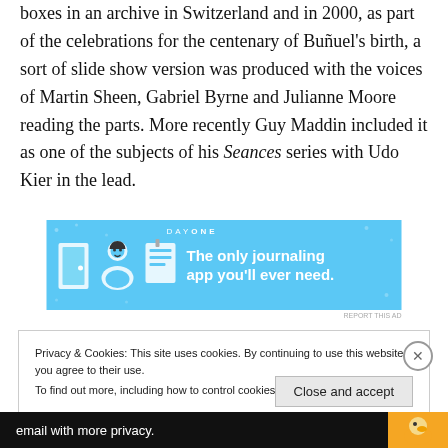boxes in an archive in Switzerland and in 2000, as part of the celebrations for the centenary of Buñuel's birth, a sort of slide show version was produced with the voices of Martin Sheen, Gabriel Byrne and Julianne Moore reading the parts. More recently Guy Maddin included it as one of the subjects of his Seances series with Udo Kier in the lead.
[Figure (other): DayOne app advertisement banner — light blue background with illustrated icons (door, person, notepad) and text 'The only journaling app you'll ever need.']
Privacy & Cookies: This site uses cookies. By continuing to use this website, you agree to their use.
To find out more, including how to control cookies, see here: Cookie Policy